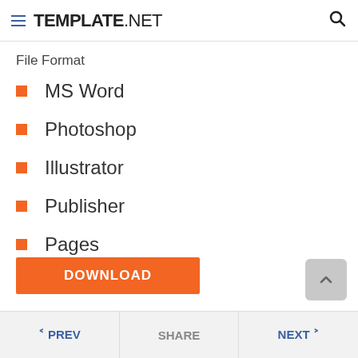TEMPLATE.NET
File Format
MS Word
Photoshop
Illustrator
Publisher
Pages
DOWNLOAD
< PREV   SHARE   NEXT >